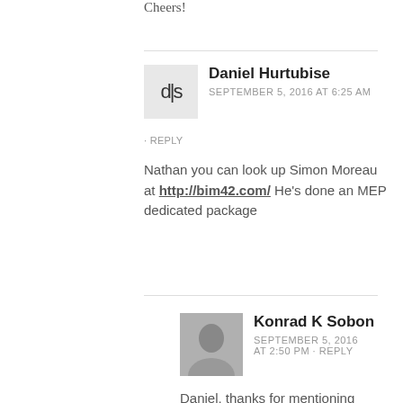Cheers!
Daniel Hurtubise
SEPTEMBER 5, 2016 AT 6:25 AM
- REPLY

Nathan you can look up Simon Moreau at http://bim42.com/ He's done an MEP dedicated package
Konrad K Sobon
SEPTEMBER 5, 2016 AT 2:50 PM - REPLY

Daniel, thanks for mentioning Simon. I totally forgot he's an MEP guy. Yes, I agree, he's a good dude.